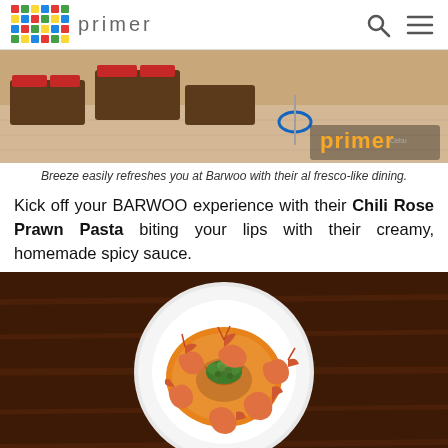primer
[Figure (photo): Top-down view of a restaurant interior with al fresco dining setup, wooden furniture, red cushions, tiled floor, with Primer watermark logo in bottom right corner]
Breeze easily refreshes you at Barwoo with their al fresco-like dining.
Kick off your BARWOO experience with their Chili Rose Prawn Pasta biting your lips with their creamy, homemade spicy sauce.
[Figure (photo): Overhead shot of a white bowl containing Chili Rose Prawn Pasta – large prawns arranged in a circular pattern over noodles in a creamy orange-red sauce, garnished with green herbs, on a dark wooden table]